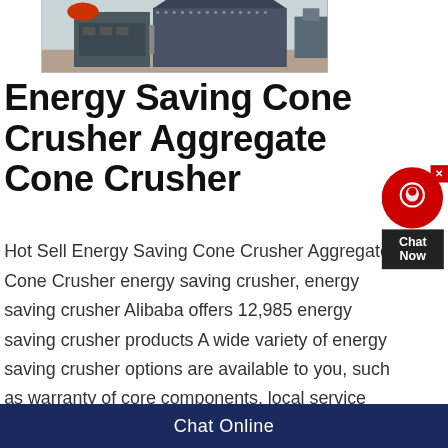[Figure (photo): Photo of industrial cone crusher machinery on a factory floor, showing large grey metal crushing equipment with orange motor]
Energy Saving Cone Crusher Aggregate Cone Crusher
Hot Sell Energy Saving Cone Crusher Aggregate Cone Crusher energy saving crusher, energy saving crusher Alibaba offers 12,985 energy saving crusher products A wide variety of energy saving crusher options are available to you, such as warranty of core components, local service location, and key 2020 Hot Sale Mobile Jaw Crusher /cone Crusher/ 2020 Hot Sale Mobile Jaw Crusher /cone CrusherJaw crusher is the vchina
Chat Online